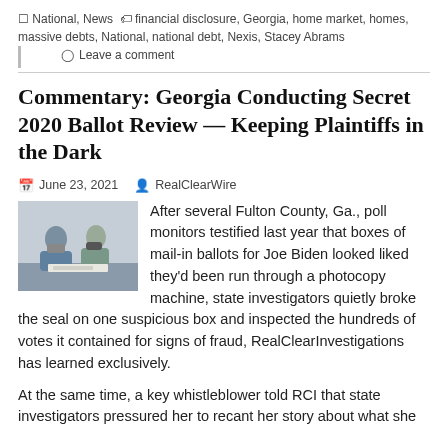National, News  financial disclosure, Georgia, home market, homes, massive debts, National, national debt, Nexis, Stacey Abrams
Leave a comment
Commentary: Georgia Conducting Secret 2020 Ballot Review –– Keeping Plaintiffs in the Dark
June 23, 2021   RealClearWire
[Figure (photo): Photo of two people seated at a table, one wearing a mask, in an indoor setting.]
After several Fulton County, Ga., poll monitors testified last year that boxes of mail-in ballots for Joe Biden looked liked they'd been run through a photocopy machine, state investigators quietly broke the seal on one suspicious box and inspected the hundreds of votes it contained for signs of fraud, RealClearInvestigations has learned exclusively.
At the same time, a key whistleblower told RCI that state investigators pressured her to recant her story about what she